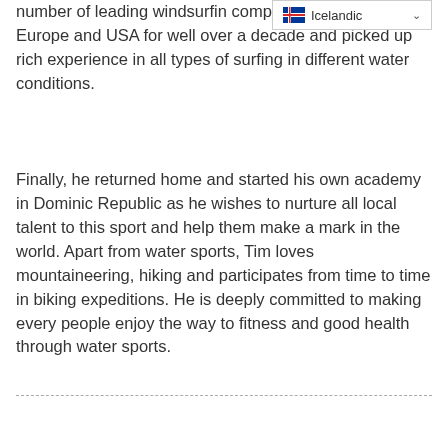number of leading windsurfing competitions across Europe and USA for well over a decade and picked up rich experience in all types of surfing in different water conditions.
[Figure (screenshot): Language selector dropdown showing Icelandic flag and text 'Icelandic' with a chevron/dropdown arrow]
Finally, he returned home and started his own academy in Dominic Republic as he wishes to nurture all local talent to this sport and help them make a mark in the world. Apart from water sports, Tim loves mountaineering, hiking and participates from time to time in biking expeditions. He is deeply committed to making every people enjoy the way to fitness and good health through water sports.